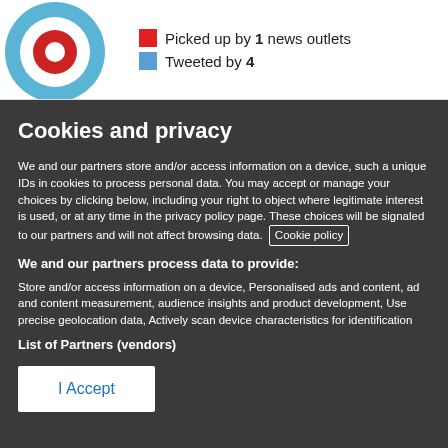[Figure (logo): Circular logo with blue and red/white target-like design, partially cropped]
Picked up by 1 news outlets
Tweeted by 4
Cookies and privacy
We and our partners store and/or access information on a device, such a unique IDs in cookies to process personal data. You may accept or manage your choices by clicking below, including your right to object where legitimate interest is used, or at any time in the privacy policy page. These choices will be signaled to our partners and will not affect browsing data. Cookie policy
We and our partners process data to provide:
Store and/or access information on a device, Personalised ads and content, ad and content measurement, audience insights and product development, Use precise geolocation data, Actively scan device characteristics for identification
List of Partners (vendors)
I Accept